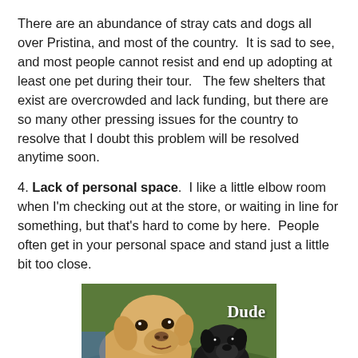There are an abundance of stray cats and dogs all over Pristina, and most of the country. It is sad to see, and most people cannot resist and end up adopting at least one pet during their tour. The few shelters that exist are overcrowded and lack funding, but there are so many other pressing issues for the country to resolve that I doubt this problem will be resolved anytime soon.
4. Lack of personal space. I like a little elbow room when I'm checking out at the store, or waiting in line for something, but that's hard to come by here. People often get in your personal space and stand just a little bit too close.
[Figure (photo): A humorous meme photo showing two dogs (a golden/yellow dog and a small black dog) very close together, with text 'Dude' in white serif font on the right side, implying invasion of personal space.]